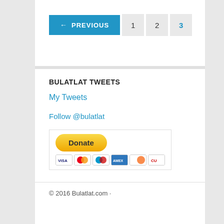← PREVIOUS  1  2  3
BULATLAT TWEETS
My Tweets
Follow @bulatlat
[Figure (other): PayPal Donate button with credit card icons (Visa, Mastercard, Maestro, American Express, Discover, CU)]
© 2016 Bulatlat.com ·